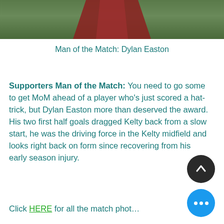[Figure (photo): Top portion of a football/soccer player wearing dark red/maroon kit with red socks, standing on green grass pitch. Only the lower body and torso visible.]
Man of the Match: Dylan Easton
Supporters Man of the Match: You need to go some to get MoM ahead of a player who's just scored a hat-trick, but Dylan Easton more than deserved the award. His two first half goals dragged Kelty back from a slow start, he was the driving force in the Kelty midfield and looks right back on form since recovering from his early season injury.
Click HERE for all the match photos